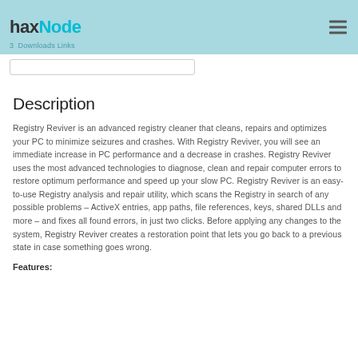haxNode
Description
Registry Reviver is an advanced registry cleaner that cleans, repairs and optimizes your PC to minimize seizures and crashes. With Registry Reviver, you will see an immediate increase in PC performance and a decrease in crashes. Registry Reviver uses the most advanced technologies to diagnose, clean and repair computer errors to restore optimum performance and speed up your slow PC. Registry Reviver is an easy-to-use Registry analysis and repair utility, which scans the Registry in search of any possible problems – ActiveX entries, app paths, file references, keys, shared DLLs and more – and fixes all found errors, in just two clicks. Before applying any changes to the system, Registry Reviver creates a restoration point that lets you go back to a previous state in case something goes wrong.
Features: